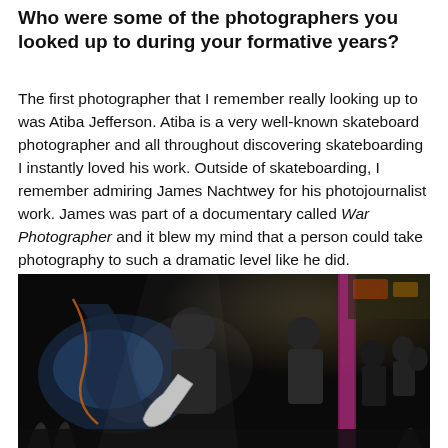Who were some of the photographers you looked up to during your formative years?
The first photographer that I remember really looking up to was Atiba Jefferson. Atiba is a very well-known skateboard photographer and all throughout discovering skateboarding I instantly loved his work. Outside of skateboarding, I remember admiring James Nachtwey for his photojournalist work. James was part of a documentary called War Photographer and it blew my mind that a person could take photography to such a dramatic level like he did.
[Figure (photo): Concert photograph showing a guitarist in a black t-shirt performing on stage, with another guitarist visible behind him, and a crowd of people in the background in a dimly lit venue with colored lighting including a pink/purple pillar and neon signs.]